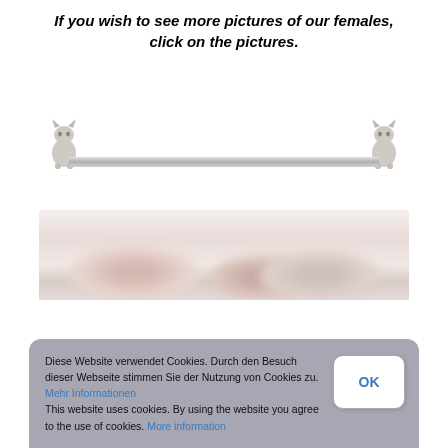If you wish to see more pictures of our females, click on the pictures.
[Figure (illustration): Decorative divider bar with cat figurines at each end, and a horizontal metallic bar]
[Figure (photo): Blurry/cropped photo showing kittens or cats lying down, very soft focus]
Diese Website verwendet Cookies. Durch den Besuch dieser Webseite stimmen Sie der Nutzung von Cookies zu. Mehr Informationen
This website uses cookies. By using the website you agree to the use of cookies. More information